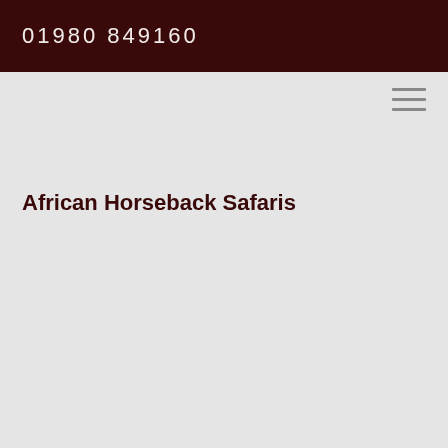01980 849160
[Figure (other): Hamburger menu icon with three horizontal bars]
African Horseback Safaris